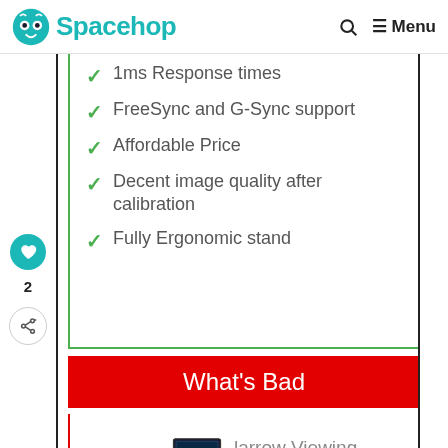Spacehop | Menu
1ms Response times
FreeSync and G-Sync support
Affordable Price
Decent image quality after calibration
Fully Ergonomic stand
What's Bad
Narrow Viewing angles
WHAT'S NEXT → ASUS MG248QR...